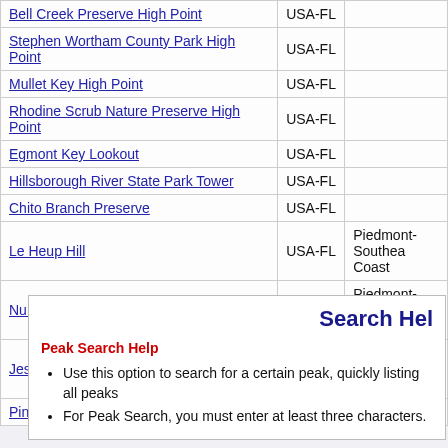| Name | Location | Range |
| --- | --- | --- |
| Bell Creek Preserve High Point | USA-FL |  |
| Stephen Wortham County Park High Point | USA-FL |  |
| Mullet Key High Point | USA-FL |  |
| Rhodine Scrub Nature Preserve High Point | USA-FL |  |
| Egmont Key Lookout | USA-FL |  |
| Hillsborough River State Park Tower | USA-FL |  |
| Chito Branch Preserve | USA-FL |  |
| Le Heup Hill | USA-FL | Piedmont-Southeast Coast |
| Nursery Hill | USA-FL | Piedmont-Southeast Coast |
| Jessamine Lake Northeast | USA-FL | Piedmont-Southeast Coast |
| Pine Island | USA-FL |  |
Search Hel
Peak Search Help
Use this option to search for a certain peak, quickly listing all peaks
For Peak Search, you must enter at least three characters.